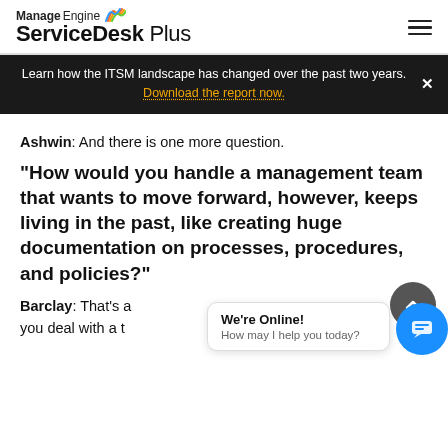[Figure (logo): ManageEngine ServiceDesk Plus logo with colorful arc graphic]
Learn how the ITSM landscape has changed over the past two years. Download the report now.
Ashwin: And there is one more question. "How would you handle a management team that wants to move forward, however, keeps living in the past, like creating huge documentation on processes, procedures, and policies?"
Barclay: That's a [cut off]...ow you deal with a [cut off]...ing